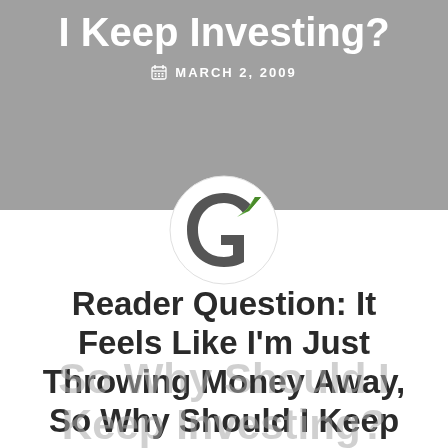I Keep Investing?
MARCH 2, 2009
[Figure (logo): Circular logo with stylized 'G' and checkmark in gray and green tones]
Reader Question: It Feels Like I'm Just Throwing Money Away, So Why Should I Keep Investing?